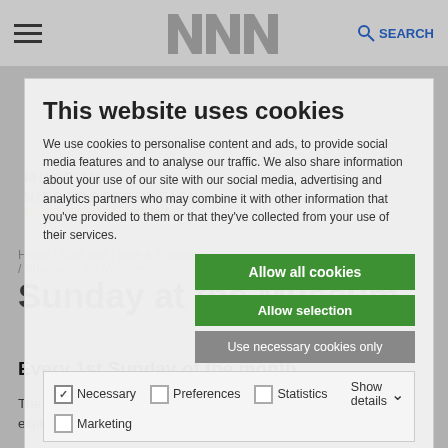Museum Niederösterreich — SEARCH
This website uses cookies
We use cookies to personalise content and ads, to provide social media features and to analyse our traffic. We also share information about your use of our site with our social media, advertising and analytics partners who may combine it with other information that you've provided to them or that they've collected from your use of their services.
Allow all cookies
Allow selection
Use necessary cookies only
Necessary  Preferences  Statistics  Show details  Marketing
Every 1st Sunday of the month
The changing programs provide ample opportunity to playfully explore the museum as well as stimulating